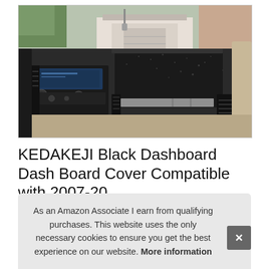[Figure (photo): Interior dashboard photo of a truck/SUV with a black dashboard cover installed, showing center console with radio, controls, and a garage visible through the windshield]
KEDAKEJI Black Dashboard Dash Board Cover Compatible with 2007-20
#ad
As an Amazon Associate I earn from qualifying purchases. This website uses the only necessary cookies to ensure you get the best experience on our website. More information